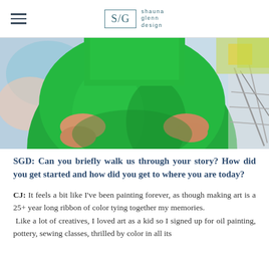S/G shauna glenn design
[Figure (photo): Close-up photo of a person wearing a bright green dress, seated, with hands clasped in lap. Abstract colorful painting visible in background on left, wire chair visible on right.]
SGD: Can you briefly walk us through your story? How did you get started and how did you get to where you are today?
CJ: It feels a bit like I've been painting forever, as though making art is a 25+ year long ribbon of color tying together my memories.
 Like a lot of creatives, I loved art as a kid so I signed up for oil painting, pottery, sewing classes, thrilled by color in all its